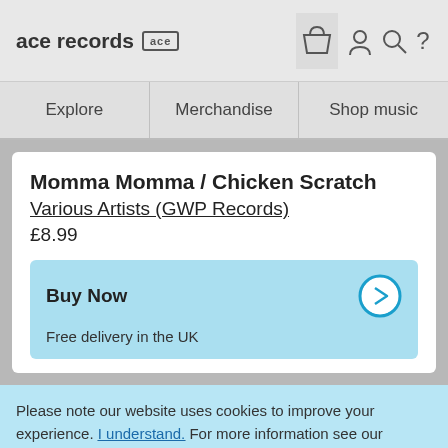ace records [ace logo] | basket icon | user icon | search icon | help icon
Explore | Merchandise | Shop music
Momma Momma / Chicken Scratch
Various Artists (GWP Records)
£8.99
Buy Now
Free delivery in the UK
Please note our website uses cookies to improve your experience. I understand. For more information see our Privacy Notice & Cookie Policy.